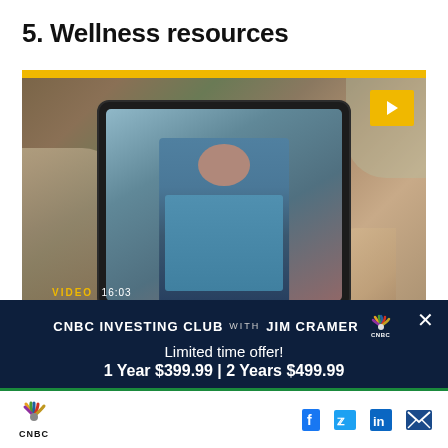5. Wellness resources
[Figure (screenshot): Video thumbnail showing a person watching a telehealth consultation on a tablet. A healthcare professional in blue scrubs is visible on the tablet screen. A golden-yellow play button is in the top right corner. The label 'VIDEO 16:03' appears at the bottom left.]
[Figure (infographic): CNBC Investing Club with Jim Cramer promotional overlay with dark navy background. Shows 'Limited time offer! 1 Year $399.99 | 2 Years $499.99' and a 'BECOME A MEMBER' button.]
CNBC logo with social media icons for Facebook, Twitter, LinkedIn, and Email